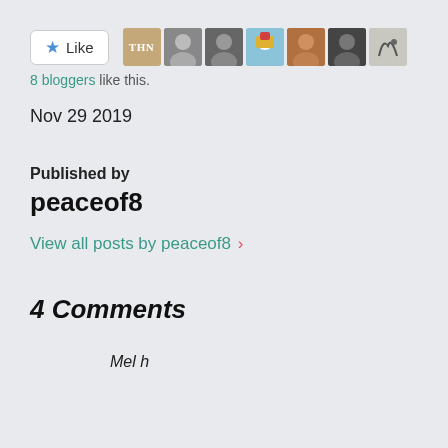[Figure (other): Like button with star icon and 7 blogger avatar thumbnails]
8 bloggers like this.
Nov 29 2019
Published by
peaceof8
View all posts by peaceof8 ›
4 Comments
Mel h